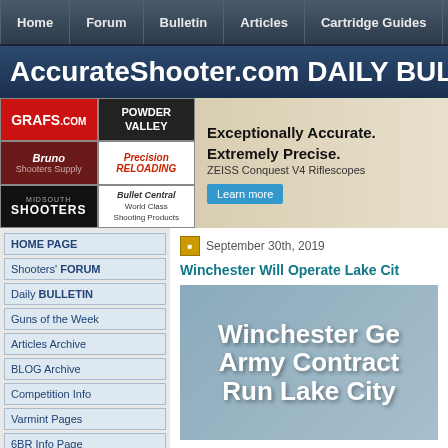Home | Forum | Bulletin | Articles | Cartridge Guides
AccurateShooter.com DAILY BULLET
[Figure (infographic): Advertisement banner with sponsor logos: GRAFS.COM, POWDER VALLEY, Bruno Shooters Supply, Precision Reloading, MIDSOUTH SHOOTERS, Bullet Central, and ZEISS Conquest V4 Riflescopes ad]
HOME PAGE
Shooters' FORUM
Daily BULLETIN
Guns of the Week
Articles Archive
BLOG Archive
Competition Info
Varmint Pages
6BR Info Page
6BR Improved
17 CAL Info Page
September 30th, 2019
Winchester Will Operate Lake Cit
[Figure (screenshot): Article image with bold white text on blue-gray background: 'Winchester Ge Army Contract Run Lake City']